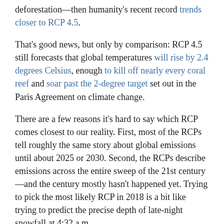deforestation—then humanity's recent record trends closer to RCP 4.5.
That's good news, but only by comparison: RCP 4.5 still forecasts that global temperatures will rise by 2.4 degrees Celsius, enough to kill off nearly every coral reef and soar past the 2-degree target set out in the Paris Agreement on climate change.
There are a few reasons it's hard to say which RCP comes closest to our reality. First, most of the RCPs tell roughly the same story about global emissions until about 2025 or 2030. Second, the RCPs describe emissions across the entire sweep of the 21st century—and the century mostly hasn't happened yet. Trying to pick the most likely RCP in 2018 is a bit like trying to predict the precise depth of late-night snowfall at 4:32 a.m.
The RCP 4.5 scenario...